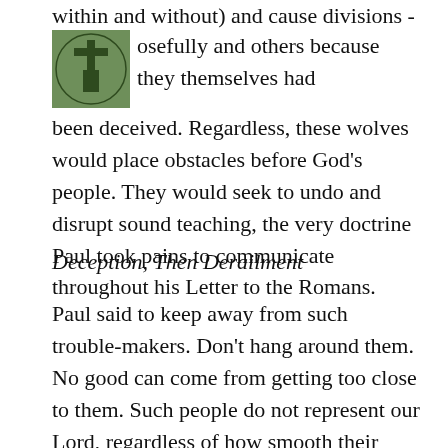[Figure (logo): Green square logo with a tree/cross symbol and circular text around it]
within and without) and cause divisions - some purposefully and others because they themselves had been deceived. Regardless, these wolves would place obstacles before God's people. They would seek to undo and disrupt sound teaching, the very doctrine Paul took pains to communicate throughout his Letter to the Romans.
Deception, Then Derailment
Paul said to keep away from such trouble-makers. Don't hang around them. No good can come from getting too close to them. Such people do not represent our Lord, regardless of how smooth their words are. They serve the idol of their own agenda, their own desires and cravings, not Christ's. The first result of listening to them is deception. Once deception sets in, wandering from the